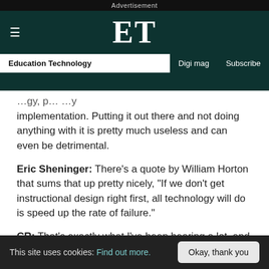Advertisement
ET
Education Technology | Digi mag | Subscribe
implementation. Putting it out there and not doing anything with it is pretty much useless and can even be detrimental.
Eric Sheninger: There’s a quote by William Horton that sums that up pretty nicely, “If we don’t get instructional design right first, all technology will do is speed up the rate of failure.”
CR: That’s exactly what I’ve been hearing a lot, and I wondered if you had an insight on what y
This site uses cookies: Find out more. Okay, thank you